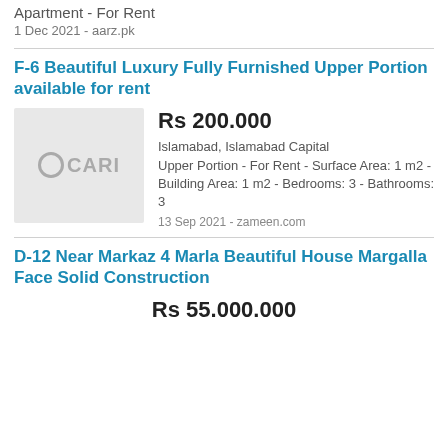Apartment - For Rent
1 Dec 2021 - aarz.pk
F-6 Beautiful Luxury Fully Furnished Upper Portion available for rent
[Figure (logo): CARI logo placeholder image in grey box]
Rs 200.000
Islamabad, Islamabad Capital
Upper Portion - For Rent - Surface Area: 1 m2 - Building Area: 1 m2 - Bedrooms: 3 - Bathrooms: 3
13 Sep 2021 - zameen.com
D-12 Near Markaz 4 Marla Beautiful House Margalla Face Solid Construction
Rs 55.000.000